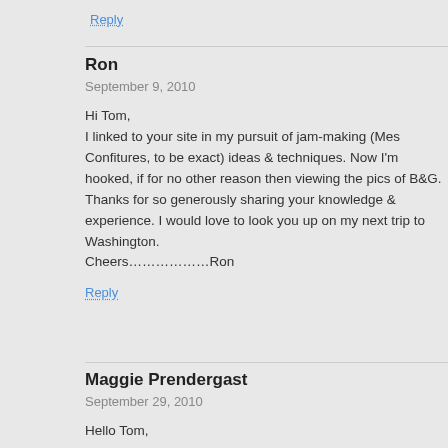Reply
Ron
September 9, 2010
Hi Tom,
I linked to your site in my pursuit of jam-making (Mes Confitures, to be exact) ideas & techniques. Now I'm hooked, if for no other reason then viewing the pics of B&G. Thanks for so generously sharing your knowledge & experience. I would love to look you up on my next trip to Washington.
Cheers………………Ron
Reply
Maggie Prendergast
September 29, 2010
Hello Tom,
I found your blog last spring and it really inspired me! I had never gardened before and took your